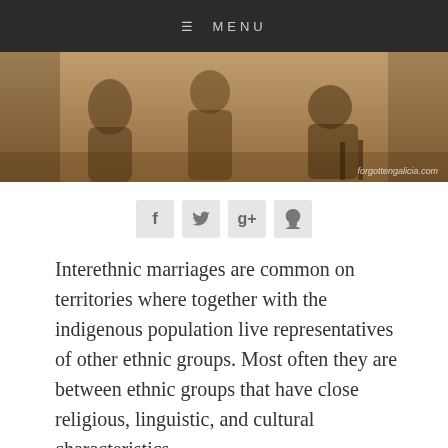☰ MENU
[Figure (photo): Sepia-toned historical photograph of people seated outdoors, with watermark 'forgottengalicia.com']
[Figure (infographic): Social media share buttons: Facebook (f), Twitter (bird), Google+ (g+), Pinterest (p)]
Interethnic marriages are common on territories where together with the indigenous population live representatives of other ethnic groups. Most often they are between ethnic groups that have close religious, linguistic, and cultural characteristics.
“In interwar Galicia the largest number of